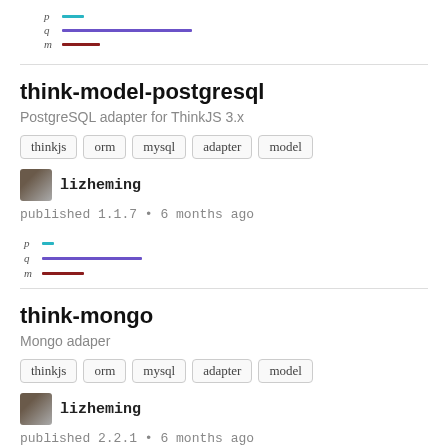[Figure (other): Mini legend bar chart with p (short cyan line), q (long purple line), m (short dark red line)]
think-model-postgresql
PostgreSQL adapter for ThinkJS 3.x
thinkjs
orm
mysql
adapter
model
lizheming
published 1.1.7 • 6 months ago
[Figure (other): Mini legend bar chart with p (short cyan line), q (long purple line), m (short dark red line)]
think-mongo
Mongo adaper
thinkjs
orm
mysql
adapter
model
lizheming
published 2.2.1 • 6 months ago